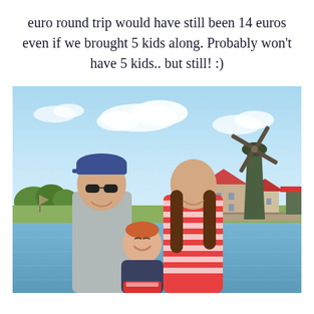euro round trip would have still been 14 euros even if we brought 5 kids along. Probably won't have 5 kids.. but still! :)
[Figure (photo): A couple and their baby posing in front of a Dutch windmill and waterway at Zaanse Schans, Netherlands. The man on the left wears a blue baseball cap and sunglasses and a grey t-shirt. The woman on the right wears a red and white striped shirt with long brown hair. She holds a laughing baby dressed in dark clothing. The background shows a scenic canal, traditional Dutch buildings with red roofs, and a large green windmill under a partly cloudy blue sky.]